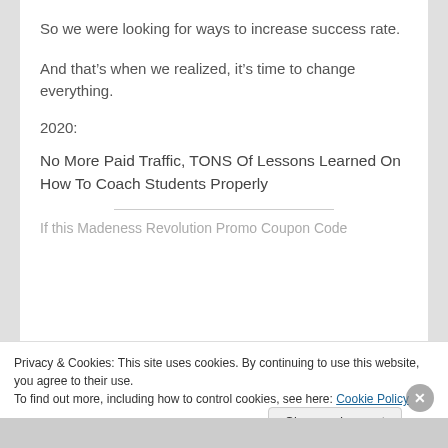So we were looking for ways to increase success rate.
And that’s when we realized, it’s time to change everything.
2020:
No More Paid Traffic, TONS Of Lessons Learned On How To Coach Students Properly
If this Madeness Revolution Promo Coupon Code
Privacy & Cookies: This site uses cookies. By continuing to use this website, you agree to their use.
To find out more, including how to control cookies, see here: Cookie Policy
Close and accept